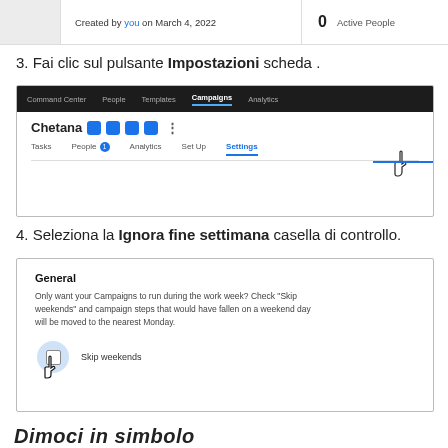[Figure (screenshot): Top card showing 'Created by you on March 4, 2022' with 0 Active People]
3. Fai clic sul pulsante Impostazioni scheda .
[Figure (screenshot): Navigation bar with Command Center, People, Templates, Campaigns, Analytics tabs. Below: Chetana with icons, Tasks, People (badge 1), Analytics, Set Up, Settings (active, with cursor hand)]
4. Seleziona la Ignora fine settimana casella di controllo.
[Figure (screenshot): General section: Only want your Campaigns to run during the work week? Check Skip weekends and campaign steps that would have fallen on a weekend day will be moved to the nearest Monday. Skip weekends checkbox with hand cursor.]
Dimoci in simbolo